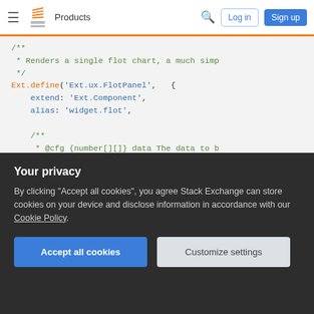Stack Overflow navigation bar with hamburger menu, logo, Products link, search icon, Log in button, Sign up button
[Figure (screenshot): Code editor view showing JavaScript/ExtJS code with syntax highlighting on a light gray background]
Your privacy
By clicking "Accept all cookies", you agree Stack Exchange can store cookies on your device and disclose information in accordance with our Cookie Policy.
Accept all cookies   Customize settings